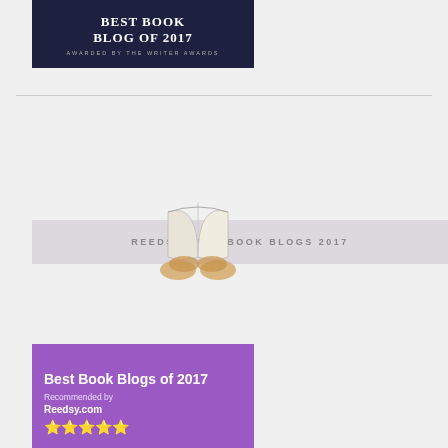[Figure (illustration): Dark navy badge reading 'BEST BOOK BLOG OF 2017 — AWARDED BY THE WRITER AWARDS']
[Figure (illustration): Purple Reedsy badge reading 'Best Book Blogs of 2017, Recommended by Reedsy.com' with five gold stars and an open book illustration]
REEDSY BEST BOOK BLOGS 2017
Privacy & Cookies: This site uses cookies. By continuing to use this website, you agree to their use.
To find out more, including how to control cookies, see here: Cookie Policy
Close and accept